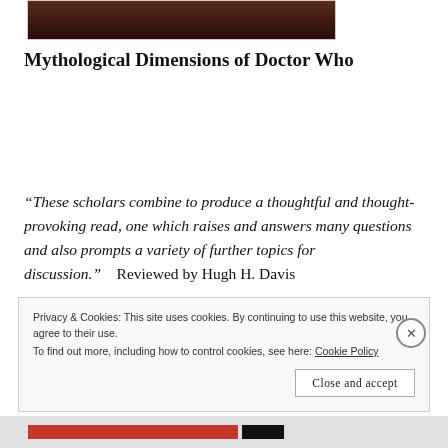[Figure (photo): Partial book cover image for Mythological Dimensions of Doctor Who, showing a dark reddish-brown background]
Mythological Dimensions of Doctor Who
“These scholars combine to produce a thoughtful and thought-provoking read, one which raises and answers many questions and also prompts a variety of further topics for discussion.”    Reviewed by Hugh H. Davis
Privacy & Cookies: This site uses cookies. By continuing to use this website, you agree to their use.
To find out more, including how to control cookies, see here: Cookie Policy